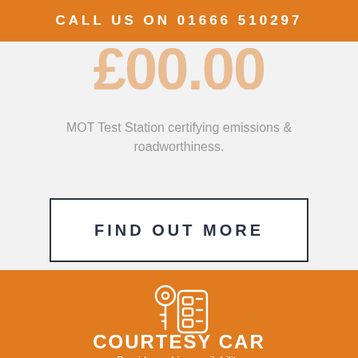CALL US ON 01666 510297
MOT Test Station certifying emissions & roadworthiness.
FIND OUT MORE
[Figure (illustration): Car key fob icon illustration in outline style]
COURTESY CAR
Providesehic...availability